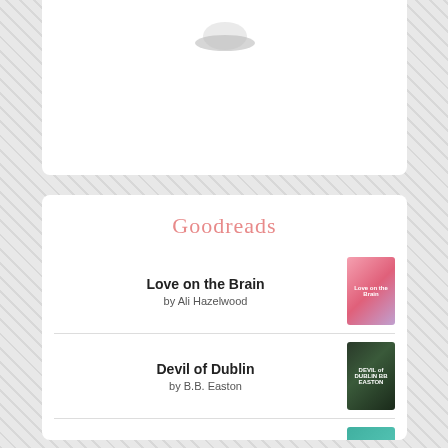Goodreads
Love on the Brain by Ali Hazelwood
Devil of Dublin by B.B. Easton
Make a Wish by Helena Hunting
A Cosmic Kind of Love